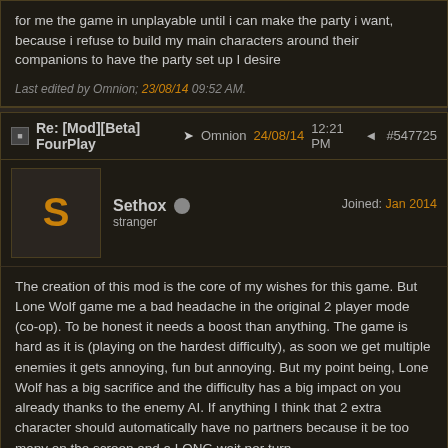for me the game in unplayable until i can make the party i want, because i refuse to build my main characters around their companions to have the party set up I desire
Last edited by Omnion; 23/08/14 09:52 AM.
Re: [Mod][Beta] FourPlay  ➤ Omnion  24/08/14  12:21 PM  ◄  #547725
Sethox
stranger
Joined: Jan 2014
The creation of this mod is the core of my wishes for this game. But Lone Wolf game me a bad headache in the original 2 player mode (co-op). To be honest it needs a boost than anything. The game is hard as it is (playing on the hardest difficulty), as soon we get multiple enemies it gets annoying, fun but annoying. But my point being, Lone Wolf has a big sacrifice and the difficulty has a big impact on you already thanks to the enemy AI. If anything I think that 2 extra character should automatically have no partners because it be too many on the screen and a LONG wait per turn.
With that said, what really needs balancing is blocking, 100% damage reduction with only durability lowered. I always thought, the amount of damage you give is the force and skill/technique you have. So you parry the attack with no consequence is kind of dull. If possible depending on your percentage/number of your block, strength, defense rating.